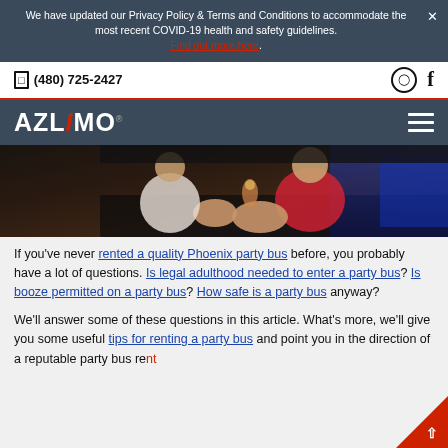We have updated our Privacy Policy & Terms and Conditions to accommodate the most recent COVID-19 health and safety guidelines. Find out more here.
(480) 725-2427
[Figure (logo): AZLiMO logo in white text on dark background with hamburger menu icon]
[Figure (photo): People seated inside a party bus limousine, women in red and white outfits with blue LED lighting]
If you've never rented a quality Phoenix party bus before, you probably have a lot of questions. Is legal adulthood needed to enter a party bus? Is booze permitted on a party bus? How safe is a party bus anyway?
We'll answer some of these questions in this article. What's more, we'll give you some useful tips for renting a party bus and point you in the direction of a reputable party bus rent...